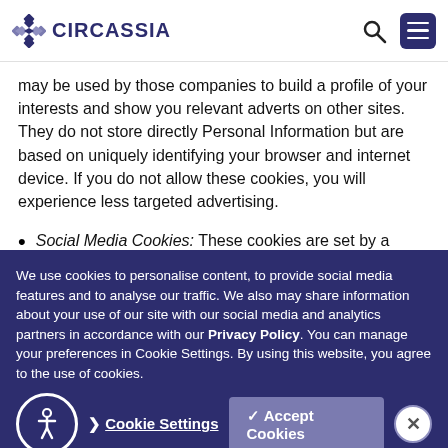CIRCASSIA
may be used by those companies to build a profile of your interests and show you relevant adverts on other sites. They do not store directly Personal Information but are based on uniquely identifying your browser and internet device. If you do not allow these cookies, you will experience less targeted advertising.
Social Media Cookies: These cookies are set by a
We use cookies to personalise content, to provide social media features and to analyse our traffic. We also may share information about your use of our site with our social media and analytics partners in accordance with our Privacy Policy. You can manage your preferences in Cookie Settings. By using this website, you agree to the use of cookies.
Cookie Settings | Accept Cookies